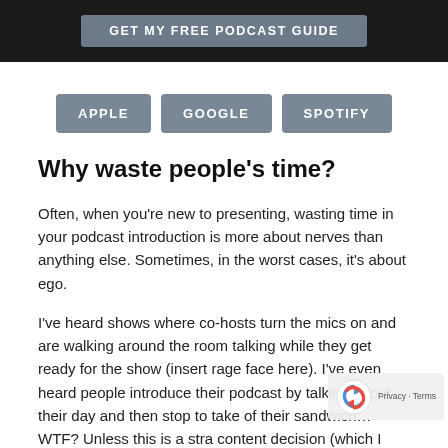GET MY FREE PODCAST GUIDE
[Figure (other): Three platform buttons: APPLE, GOOGLE, SPOTIFY]
Why waste people’s time?
Often, when you’re new to presenting, wasting time in your podcast introduction is more about nerves than anything else.  Sometimes, in the worst cases, it’s about ego.
I’ve heard shows where co-hosts turn the mics on and are walking around the room talking while they get ready for the show (insert rage face here).  I’ve even heard people introduce their podcast by talking about their day and then stop to take of their sandwich…WTF?  Unless this is a stra content decision (which I highly doubt) it’s a huge